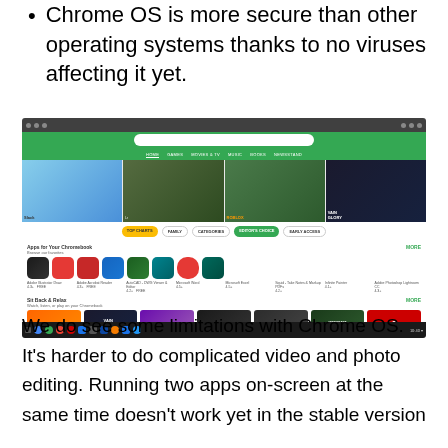Chrome OS is more secure than other operating systems thanks to no viruses affecting it yet.
[Figure (screenshot): Screenshot of Google Play Store running on Chrome OS, showing app categories including Slack, Adobe Lightroom, Roblox, Vainglory in banner, with apps for Chromebook section showing Adobe Illustrator Draw, Adobe Acrobat Reader, AutoCAD 360, Microsoft Word, Microsoft Excel, Squid, InfiniteP Painter, Adobe Photoshop Lightroom CC. Taskbar visible at bottom.]
We do see some limitations with Chrome OS. It's harder to do complicated video and photo editing. Running two apps on-screen at the same time doesn't work yet in the stable version